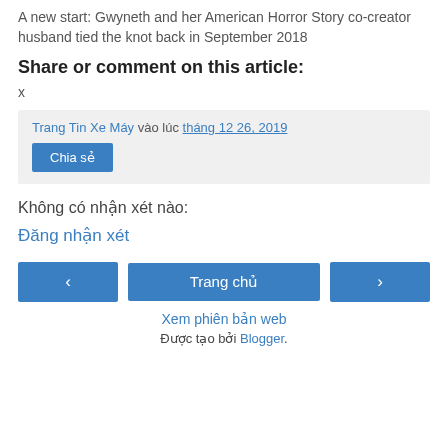A new start: Gwyneth and her American Horror Story co-creator husband tied the knot back in September 2018
Share or comment on this article:
x
Trang Tin Xe Máy vào lúc tháng 12 26, 2019
Chia sẻ
Không có nhận xét nào:
Đăng nhận xét
‹  Trang chủ  ›
Xem phiên bản web
Được tạo bởi Blogger.